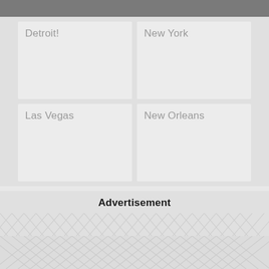Detroit!
New York
Las Vegas
New Orleans
Advertisement
[Figure (other): Chevron/herringbone pattern background for advertisement placeholder area]